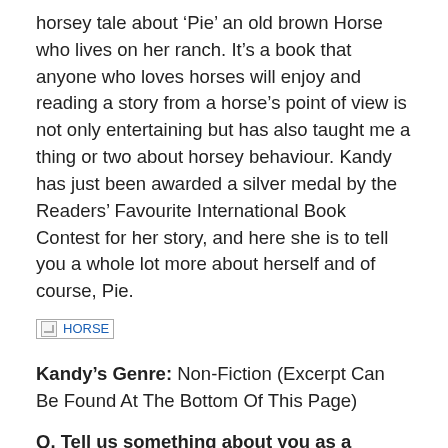horsey tale about ‘Pie’ an old brown Horse who lives on her ranch. It’s a book that anyone who loves horses will enjoy and reading a story from a horse’s point of view is not only entertaining but has also taught me a thing or two about horsey behaviour. Kandy has just been awarded a silver medal by the Readers’ Favourite International Book Contest for her story, and here she is to tell you a whole lot more about herself and of course, Pie.
[Figure (illustration): Broken image placeholder labeled HORSE]
Kandy’s Genre: Non-Fiction (Excerpt Can Be Found At The Bottom Of This Page)
Q. Tell us something about you as a person …
[Figure (photo): Broken image placeholder labeled kandy]